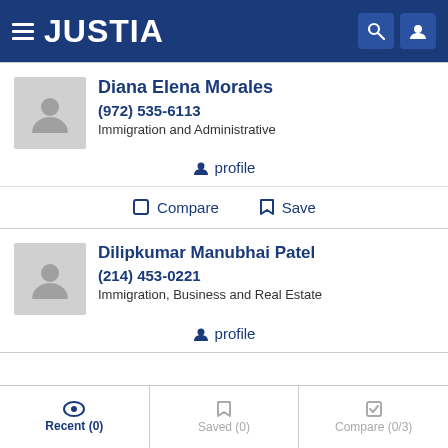JUSTIA
Diana Elena Morales
(972) 535-6113
Immigration and Administrative
profile
Compare  Save
Dilipkumar Manubhai Patel
(214) 453-0221
Immigration, Business and Real Estate
profile
Recent (0)  Saved (0)  Compare (0/3)